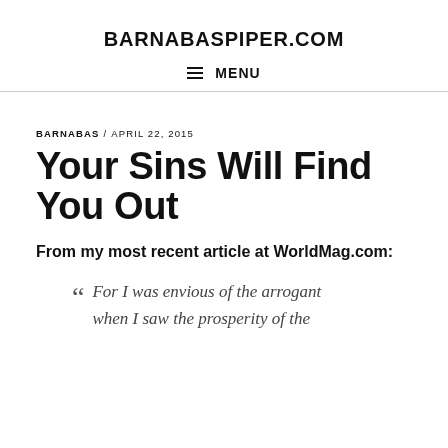BARNABASPIPER.COM
≡ MENU
BARNABAS / APRIL 22, 2015
Your Sins Will Find You Out
From my most recent article at WorldMag.com:
“ For I was envious of the arrogant when I saw the prosperity of the